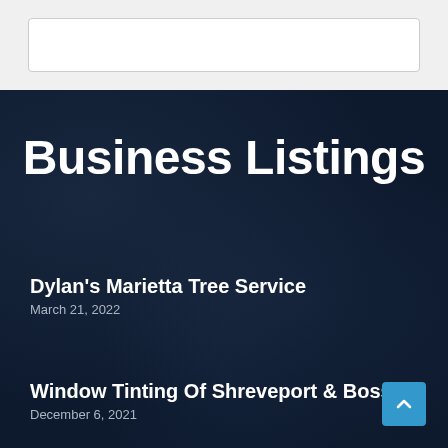[Figure (screenshot): White box / search bar area at top of webpage]
Business Listings
Dylan's Marietta Tree Service
March 21, 2022
Window Tinting Of Shreveport & Bossier
December 6, 2021